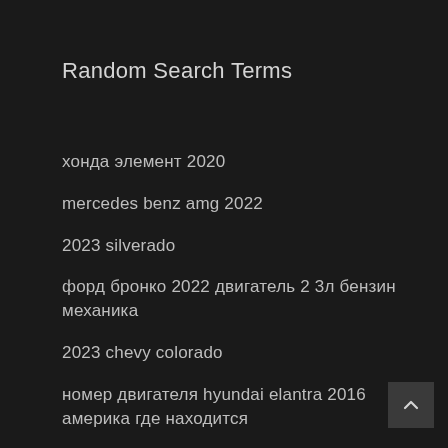Random Search Terms
хонда элемент 2020
mercedes benz amg 2022
2023 silverado
форд бронко 2022 двигатель 2 3л бензин механика
2023 chevy colorado
номер двигателя hyundai elantra 2016 америка где находится